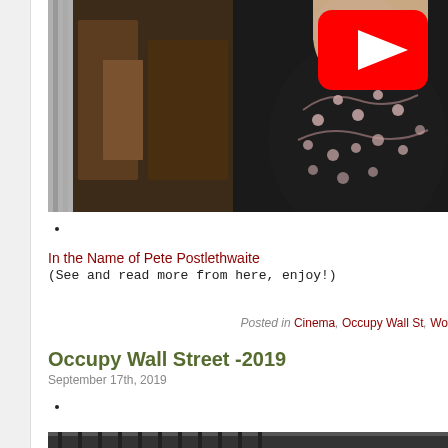[Figure (screenshot): Video thumbnail showing a person in a dark patterned jacket with a YouTube play button overlay in the top right corner, indoor setting with wooden furniture visible.]
In the Name of Pete Postlethwaite
(See and read more from here, enjoy!)
Posted in Cinema, Occupy Wall St, Wo
Occupy Wall Street -2019
September 17th, 2019
[Figure (photo): Bottom portion of an image showing an ornate iron gate or fence structure.]